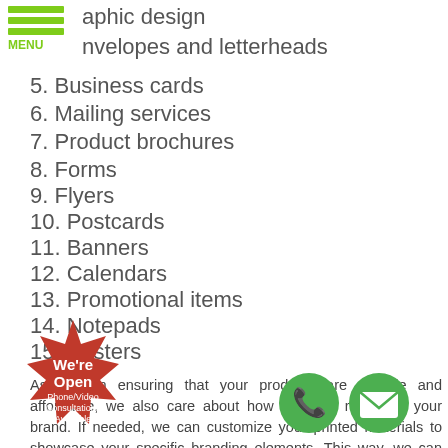[Figure (infographic): Green hamburger menu icon with MENU label in green]
aphic design
nvelopes and letterheads
5. Business cards
6. Mailing services
7. Product brochures
8. Forms
9. Flyers
10. Postcards
11. Banners
12. Calendars
13. Promotional items
14. Notepads
15. Posters
Aside from ensuring that your products are durable and affordable, we also care about how they will represent your brand. If needed, we can customize your printed materials to showcase your specific branding elements. This way, we can provide valuable content representing your brand in a creative and professional manner.
[Figure (infographic): Red star-shaped badge with text We're Open Phone/Video Consultations Available]
[Figure (infographic): Green circle phone icon]
[Figure (infographic): Green circle email/envelope icon]